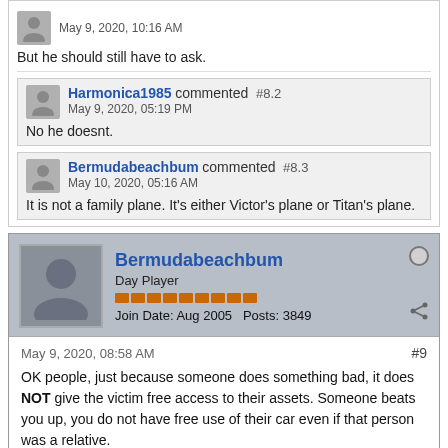But he should still have to ask.
Harmonica1985 commented #8.2
May 9, 2020, 05:19 PM
No he doesnt.
Bermudabeachbum commented #8.3
May 10, 2020, 05:16 AM
It is not a family plane. It's either Victor's plane or Titan's plane.
Bermudabeachbum
Day Player
Join Date: Aug 2005  Posts: 3849
May 9, 2020, 08:58 AM  #9
OK people, just because someone does something bad, it does NOT give the victim free access to their assets. Someone beats you up, you do not have free use of their car even if that person was a relative.